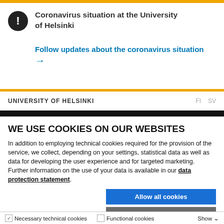Coronavirus situation at the University of Helsinki
Follow updates about the coronavirus situation →
UNIVERSITY OF HELSINKI    FI  SV
WE USE COOKIES ON OUR WEBSITES
In addition to employing technical cookies required for the provision of the service, we collect, depending on your settings, statistical data as well as data for developing the user experience and for targeted marketing. Further information on the use of your data is available in our data protection statement.
Allow all cookies
Allow selection
Use necessary cookies only
Necessary technical cookies   Functional cookies   Show detail